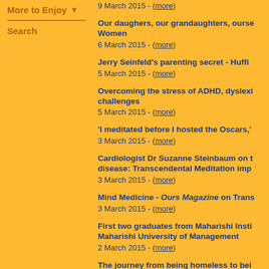More to Enjoy
Search
9 March 2015 - (more)
Our daughers, our grandaughters, ourse Women
6 March 2015 - (more)
Jerry Seinfeld's parenting secret - Huffi
5 March 2015 - (more)
Overcoming the stress of ADHD, dyslexi challenges
5 March 2015 - (more)
'I meditated before I hosted the Oscars,'
3 March 2015 - (more)
Cardiologist Dr Suzanne Steinbaum on t disease: Transcendental Meditation imp
3 March 2015 - (more)
Mind Medicine - Ours Magazine on Trans
3 March 2015 - (more)
First two graduates from Maharishi Insti Maharishi University of Management
2 March 2015 - (more)
The journey from being homeless to bei Meditation helps Los Angeles homeless
2 March 2015 - (more)